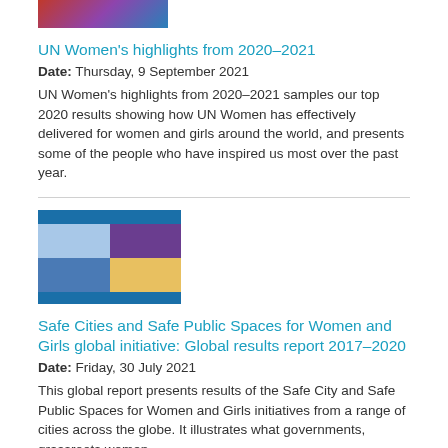[Figure (photo): Cropped top photo strip of people]
UN Women's highlights from 2020–2021
Date: Thursday, 9 September 2021
UN Women's highlights from 2020–2021 samples our top 2020 results showing how UN Women has effectively delivered for women and girls around the world, and presents some of the people who have inspired us most over the past year.
[Figure (photo): Thumbnail cover image for Safe Cities and Safe Public Spaces for Women and Girls global initiative report 2017-2020, showing collage of city photos]
Safe Cities and Safe Public Spaces for Women and Girls global initiative: Global results report 2017–2020
Date: Friday, 30 July 2021
This global report presents results of the Safe City and Safe Public Spaces for Women and Girls initiatives from a range of cities across the globe. It illustrates what governments, grassroots women,